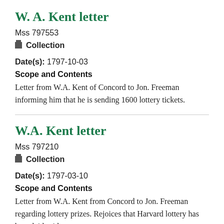W. A. Kent letter
Mss 797553
Collection
Date(s): 1797-10-03
Scope and Contents
Letter from W.A. Kent of Concord to Jon. Freeman informing him that he is sending 1600 lottery tickets.
W.A. Kent letter
Mss 797210
Collection
Date(s): 1797-03-10
Scope and Contents
Letter from W.A. Kent from Concord to Jon. Freeman regarding lottery prizes. Rejoices that Harvard lottery has been laid aside.